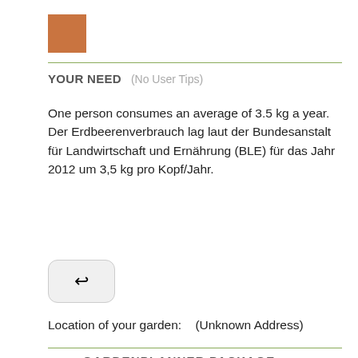[Figure (other): Brown/orange color swatch square]
YOUR NEED    (No User Tips)
One person consumes an average of 3.5 kg a year.
Der Erdbeerenverbrauch lag laut der Bundesanstalt für Landwirtschaft und Ernährung (BLE) für das Jahr 2012 um 3,5 kg pro Kopf/Jahr.
[Figure (other): Reply/back button icon (arrow pointing left)]
Location of your garden:    (Unknown Address)
GARDENPLANNER PACKAGE